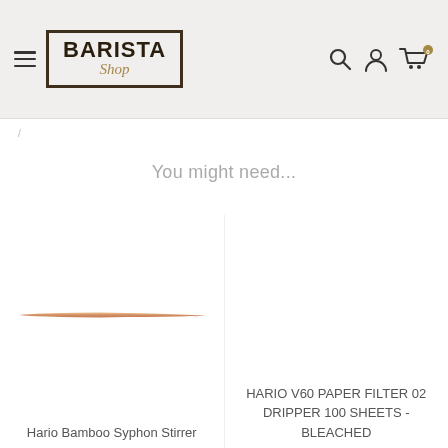[Figure (logo): Barista Shop logo with hamburger menu and navigation icons (search, account, cart with 0)]
You might need...
[Figure (photo): Hario Bamboo Syphon Stirrer – a flat wooden stirrer photographed horizontally]
Hario Bamboo Syphon Stirrer
HARIO V60 PAPER FILTER 02 DRIPPER 100 SHEETS - BLEACHED